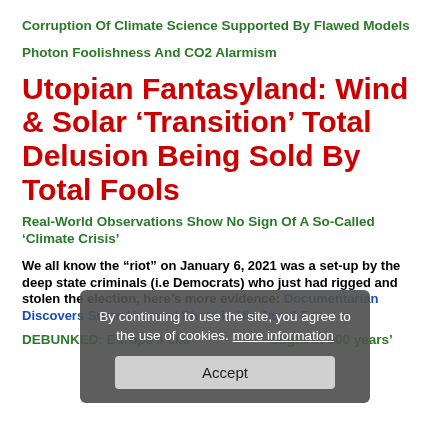Corruption Of Climate Science Supported By Flawed Models
Photon Foolishness And CO2 Alarmism
Utopian Fantasyland: Wind & Solar ‘Transition’ Total Delusion Being Sold By Total Fools
Real-World Observations Show No Sign Of A So-Called ‘Climate Crisis’
We all know the “riot” on January 6, 2021 was a set-up by the deep state criminals (i.e Democrats) who just had rigged and stolen the election, here’s more evidence: Documentarian Discovers Some Unusual Shots In His Jan. 6 Footage
DEBUNKED: Europe’s claim of ‘worst drought in 500 years’
[Figure (other): Cookie consent popup overlay with text: 'By continuing to use the site, you agree to the use of cookies. more information' and an Accept button.]